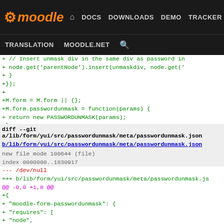Moodle — DOCS DOWNLOADS DEMO TRACKER DEV | TRANSLATION MOODLE.NET [search]
+        // Insert unmask div in the same div as password in
+        node.get('parentNode').insert(unmaskdiv, node.get('
+    }
+});
+
+M.form = M.form || {};
+M.form.passwordunmask = function(params) {
+    return new PASSWORDUNMASK(params);
+};
diff --git a/lib/form/yui/src/passwordunmask/meta/passwordunmask.json
b/lib/form/yui/src/passwordunmask/meta/passwordunmask.json
new file mode 100644 (file)
index 0000000..1830917
--- /dev/null
+++ b/lib/form/yui/src/passwordunmask/meta/passwordunmask.js
@@ -0,0 +1,8 @@
+{
+    "moodle-form-passwordunmask": {
+        "requires": [
+            "node",
+            "base"
+        ]
+    }